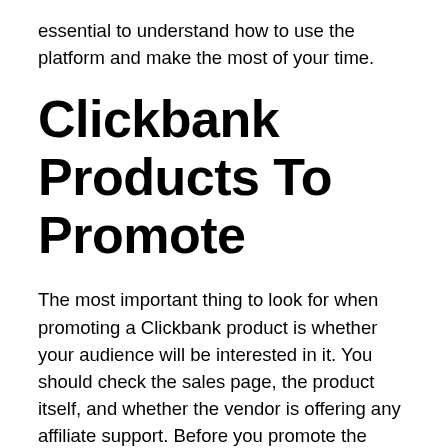essential to understand how to use the platform and make the most of your time.
Clickbank Products To Promote
The most important thing to look for when promoting a Clickbank product is whether your audience will be interested in it. You should check the sales page, the product itself, and whether the vendor is offering any affiliate support. Before you promote the product, make sure you are familiar with its author and the product. If you are unsure, ask the product owner for a review so that you can make an informed decision. Here are some tips on finding Clickbank products to